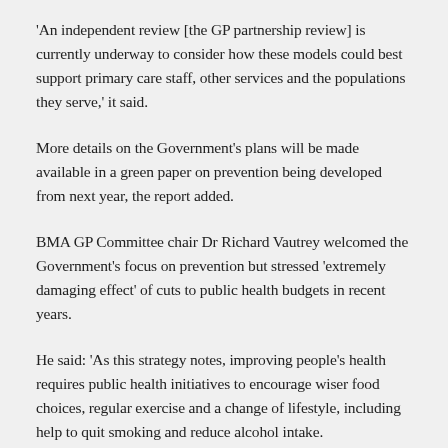'An independent review [the GP partnership review] is currently underway to consider how these models could best support primary care staff, other services and the populations they serve,' it said.
More details on the Government's plans will be made available in a green paper on prevention being developed from next year, the report added.
BMA GP Committee chair Dr Richard Vautrey welcomed the Government's focus on prevention but stressed 'extremely damaging effect' of cuts to public health budgets in recent years.
He said: 'As this strategy notes, improving people's health requires public health initiatives to encourage wiser food choices, regular exercise and a change of lifestyle, including help to quit smoking and reduce alcohol intake.